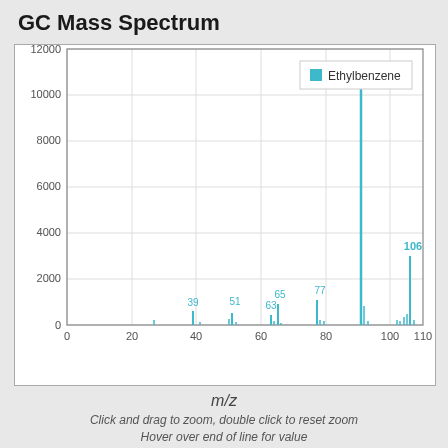GC Mass Spectrum
[Figure (continuous-plot): GC Mass Spectrum bar/line chart for Ethylbenzene. X-axis: m/z (0 to 110). Y-axis: intensity (0 to 12000). Major peaks at m/z=91 (~10400), m/z=106 (~3000), m/z=77 (~1100), m/z=65 (~900), m/z=39 (~600), m/z=51 (~500), m/z=63 (~450). Legend shows cyan square for Ethylbenzene.]
m/z
Click and drag to zoom, double click to reset zoom
Hover over end of line for value